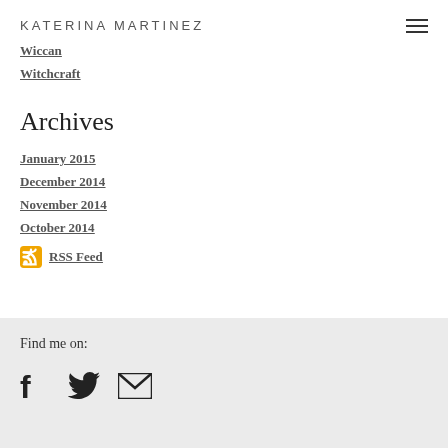KATERINA MARTINEZ
Wiccan
Witchcraft
Archives
January 2015
December 2014
November 2014
October 2014
RSS Feed
Find me on:
[Figure (infographic): Social media icons: Facebook, Twitter, Email]